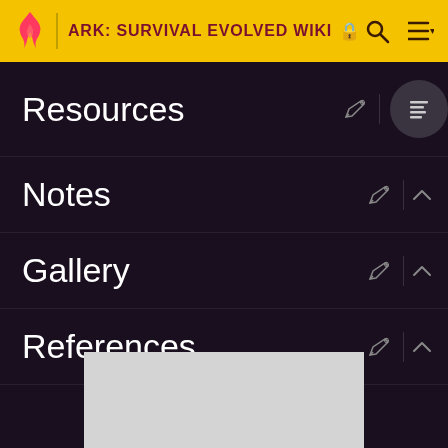ARK: SURVIVAL EVOLVED WIKI
Resources
Notes
Gallery
References
[Figure (other): Gray advertisement or image placeholder box at the bottom of the page]